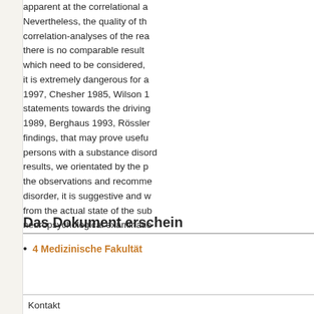apparent at the correlational a Nevertheless, the quality of the correlation-analyses of the rea there is no comparable result which need to be considered, it is extremely dangerous for a 1997, Chesher 1985, Wilson 1 statements towards the driving 1989, Berghaus 1993, Rössler findings, that may prove usefu persons with a substance disor results, we orientated by the p the observations and recomme disorder, it is suggestive and w from the actual state of the sub neuropsychological examinatio
Das Dokument erschein
4 Medizinische Fakultät
Kontakt